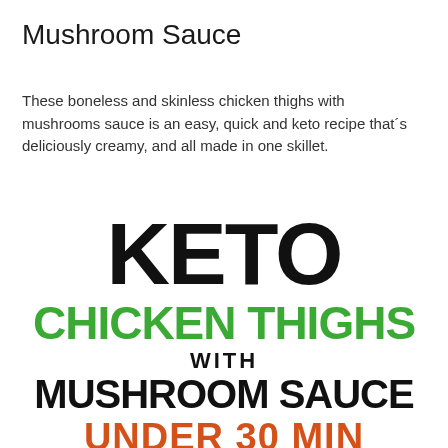Mushroom Sauce
These boneless and skinless chicken thighs with mushrooms sauce is an easy, quick and keto recipe that´s deliciously creamy, and all made in one skillet.
[Figure (infographic): Large bold text graphic: 'KETO' in black, 'CHICKEN THIGHS' in green, 'WITH' in black, 'MUSHROOM SAUCE' in black bold, 'UNDER 30 MIN' in orange/red bold]